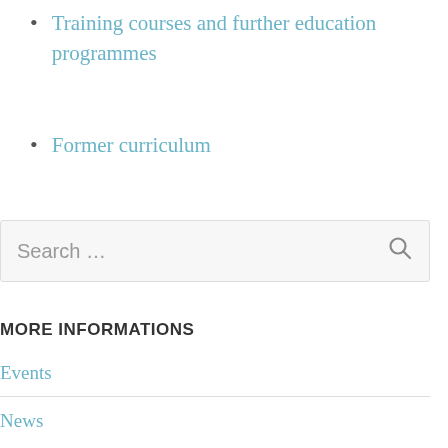Training courses and further education programmes
Former curriculum
Search …
MORE INFORMATIONS
Events
News